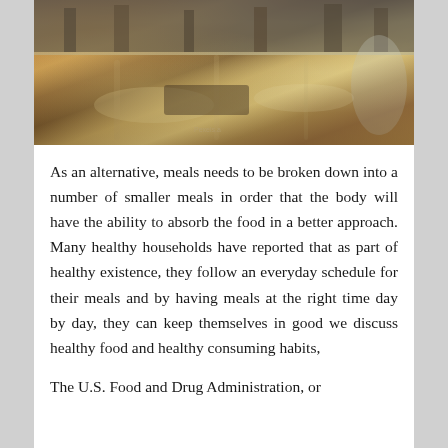[Figure (photo): Interior of a store or supermarket with shiny reflective floor, shelving units visible in background, warm brown tones.]
As an alternative, meals needs to be broken down into a number of smaller meals in order that the body will have the ability to absorb the food in a better approach. Many healthy households have reported that as part of healthy existence, they follow an everyday schedule for their meals and by having meals at the right time day by day, they can keep themselves in good we discuss healthy food and healthy consuming habits,
The U.S. Food and Drug Administration, or